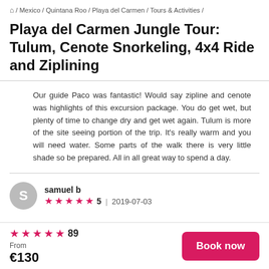⌂ / Mexico / Quintana Roo / Playa del Carmen / Tours & Activities /
Playa del Carmen Jungle Tour: Tulum, Cenote Snorkeling, 4x4 Ride and Ziplining
Our guide Paco was fantastic! Would say zipline and cenote was highlights of this excursion package. You do get wet, but plenty of time to change dry and get wet again. Tulum is more of the site seeing portion of the trip. It's really warm and you will need water. Some parts of the walk there is very little shade so be prepared. All in all great way to spend a day.
samuel b  ★★★★★  5  |  2019-07-03
★★★★★ 89  From €130